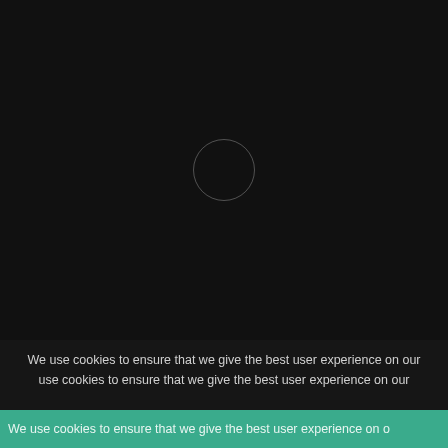[Figure (screenshot): Dark black/near-black background area with a faint circle outline in the center, resembling a loading spinner or media player interface.]
We use cookies to ensure that we give the best user experience on our use cookies to ensure that we give the best user experience on our
We use cookies to ensure that we give the best user experience on o